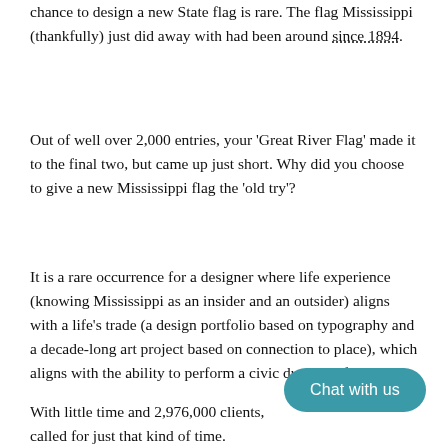chance to design a new State flag is rare. The flag Mississippi (thankfully) just did away with had been around since 1894.
Out of well over 2,000 entries, your 'Great River Flag' made it to the final two, but came up just short. Why did you choose to give a new Mississippi flag the 'old try'?
It is a rare occurrence for a designer where life experience (knowing Mississippi as an insider and an outsider) aligns with a life's trade (a design portfolio based on typography and a decade-long art project based on connection to place), which aligns with the ability to perform a civic duty. For free.
With little time and 2,976,000 clients, called for just that kind of time.